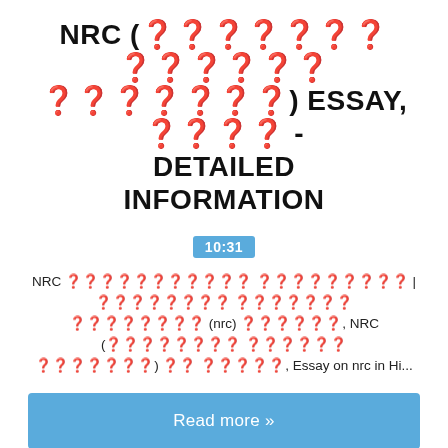NRC (???????? ?????? ???????) ESSAY, ???? - DETAILED INFORMATION
10:31
NRC ????????????? ????????? | ???????? ??????? ???????? (nrc) ??????, NRC (???????? ?????? ???????) ?? ?????, Essay on nrc in Hi...
Read more »
[Figure (screenshot): Blurred document preview showing Bengali/Hindi text with heading rows, sub-headings, and body text lines, partially legible.]